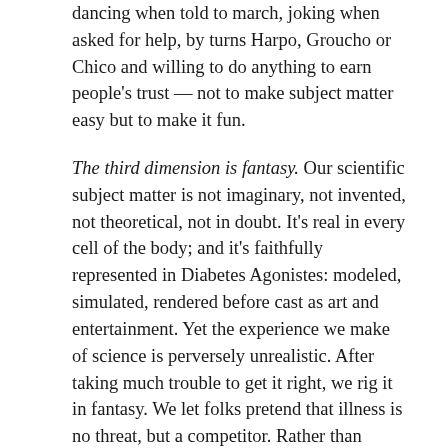dancing when told to march, joking when asked for help, by turns Harpo, Groucho or Chico and willing to do anything to earn people's trust — not to make subject matter easy but to make it fun.
The third dimension is fantasy. Our scientific subject matter is not imaginary, not invented, not theoretical, not in doubt. It's real in every cell of the body; and it's faithfully represented in Diabetes Agonistes: modeled, simulated, rendered before cast as art and entertainment. Yet the experience we make of science is perversely unrealistic. After taking much trouble to get it right, we rig it in fantasy. We let folks pretend that illness is no threat, but a competitor. Rather than retreating in fear, anger, denial as folks do in life, fantasists tackle illness curiously, deliberately: